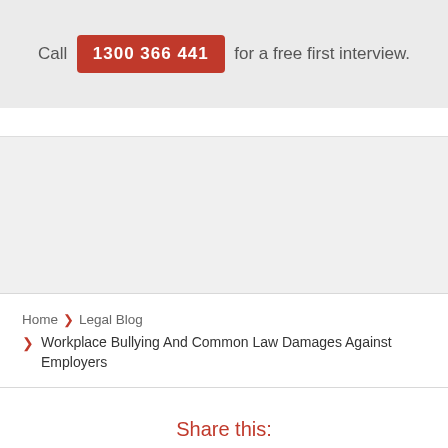Call 1300 366 441 for a free first interview.
Home › Legal Blog › Workplace Bullying And Common Law Damages Against Employers
Share this: